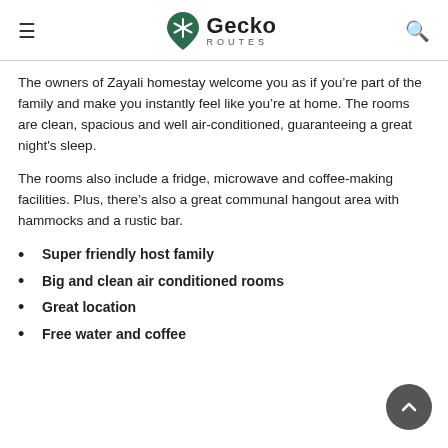Gecko Routes
The owners of Zayali homestay welcome you as if you’re part of the family and make you instantly feel like you’re at home. The rooms are clean, spacious and well air-conditioned, guaranteeing a great night’s sleep.
The rooms also include a fridge, microwave and coffee-making facilities. Plus, there’s also a great communal hangout area with hammocks and a rustic bar.
Super friendly host family
Big and clean air conditioned rooms
Great location
Free water and coffee